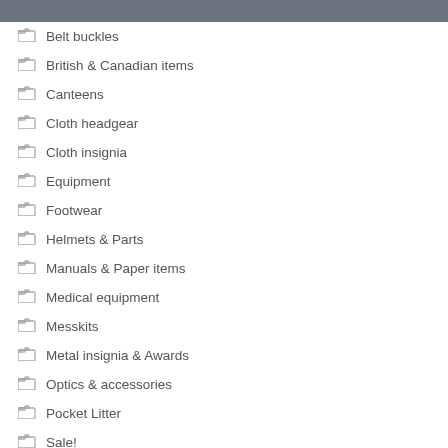Belt buckles
British & Canadian items
Canteens
Cloth headgear
Cloth insignia
Equipment
Footwear
Helmets & Parts
Manuals & Paper items
Medical equipment
Messkits
Metal insignia & Awards
Optics & accessories
Pocket Litter
Sale!
Thread & Buttons